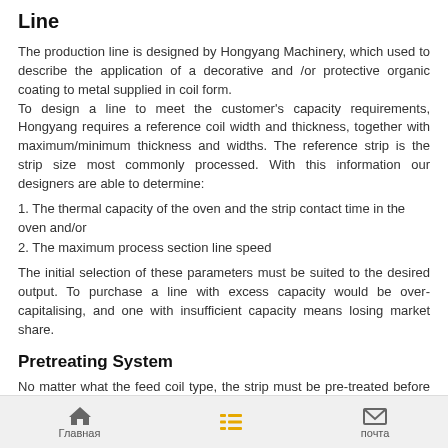Line
The production line is designed by Hongyang Machinery, which used to describe the application of a decorative and /or protective organic coating to metal supplied in coil form.
To design a line to meet the customer's capacity requirements, Hongyang requires a reference coil width and thickness, together with maximum/minimum thickness and widths. The reference strip is the strip size most commonly processed. With this information our designers are able to determine:
1. The thermal capacity of the oven and the strip contact time in the oven and/or
2. The maximum process section line speed
The initial selection of these parameters must be suited to the desired output. To purchase a line with excess capacity would be over-capitalising, and one with insufficient capacity means losing market share.
Pretreating System
No matter what the feed coil type, the strip must be pre-treated before paint is applied to obtain any acceptable level of prolonged paint adhesion and corrosion resistance.
Главная   [menu]   почта